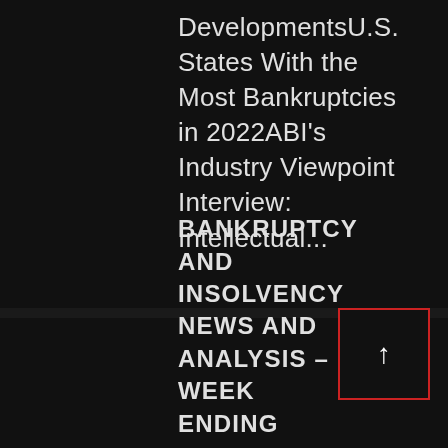DevelopmentsU.S. States With the Most Bankruptcies in 2022ABI's Industry Viewpoint Interview: Intellectual...
15 Aug
[Figure (other): Back to top arrow button with red border outline, white upward arrow on dark background]
BANKRUPTCY AND INSOLVENCY NEWS AND ANALYSIS - WEEK ENDING